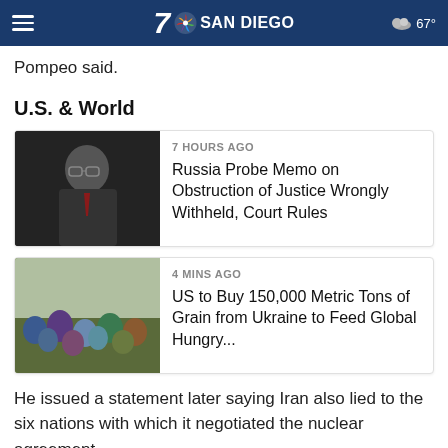7 SAN DIEGO  67°
Pompeo said.
U.S. & World
[Figure (photo): News card: photo of man with glasses (Bill Barr) in dark suit. Headline: Russia Probe Memo on Obstruction of Justice Wrongly Withheld, Court Rules. Time: 7 HOURS AGO]
[Figure (photo): News card: photo of group of people outdoors in winter clothing. Headline: US to Buy 150,000 Metric Tons of Grain from Ukraine to Feed Global Hungry... Time: 4 MINS AGO]
He issued a statement later saying Iran also lied to the six nations with which it negotiated the nuclear agreement.
"What this means is the deal was not constructed on a foundation of good faith or transparency. It was built on Iran's